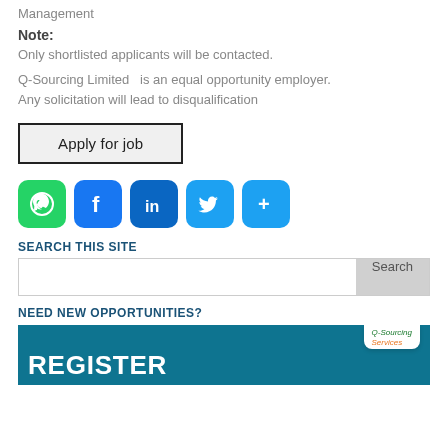Management
Note:
Only shortlisted applicants will be contacted.
Q-Sourcing Limited  is an equal opportunity employer. Any solicitation will lead to disqualification
Apply for job
[Figure (infographic): Social share icons: WhatsApp (green), Facebook (blue), LinkedIn (blue), Twitter (blue), Share/More (blue)]
SEARCH THIS SITE
Search
NEED NEW OPPORTUNITIES?
[Figure (infographic): Banner with teal background showing REGISTER text in white bold letters and Q-Sourcing logo in upper right corner on a white flap]